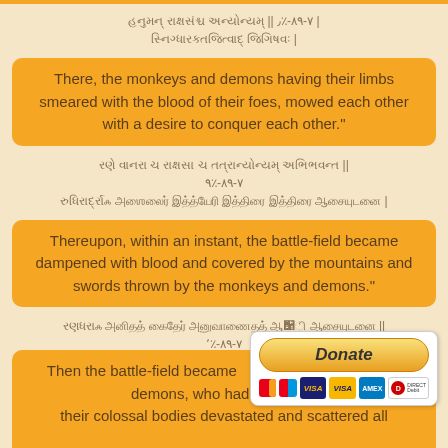Sanskrit verse text (verse 6-39-51)
There, the monkeys and demons having their limbs smeared with the blood of their foes, mowed each other with a desire to conquer each other."
Sanskrit verse text (verse 6-39-43)
Thereupon, within an instant, the battle-field became dampened with blood and covered by the mountains and swords thrown by the monkeys and demons."
Sanskrit verse text (verse 6-39-44)
Then the battle-field became demons, who had an ardent their colossal bodies devastated and scattered all
[Figure (infographic): Donate button with PayPal-style UI and payment card icons including Mastercard, Maestro, Visa, Visa, Amex, and Direct Debit]